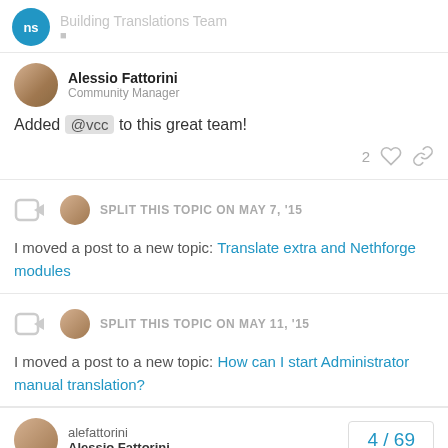Building Translations Team
Alessio Fattorini
Community Manager
Added @vcc to this great team!
2 ♡ 🔗
SPLIT THIS TOPIC ON MAY 7, '15
I moved a post to a new topic: Translate extra and Nethforge modules
SPLIT THIS TOPIC ON MAY 11, '15
I moved a post to a new topic: How can I start Administrator manual translation?
alefattorini
Alessio Fattorini
4 / 69